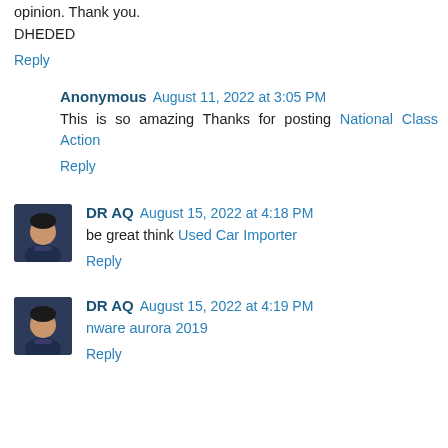opinion. Thank you.
DHEDED
Reply
Anonymous  August 11, 2022 at 3:05 PM
This is so amazing Thanks for posting National Class Action
Reply
DR AQ  August 15, 2022 at 4:18 PM
be great think Used Car Importer
Reply
DR AQ  August 15, 2022 at 4:19 PM
nware aurora 2019
Reply